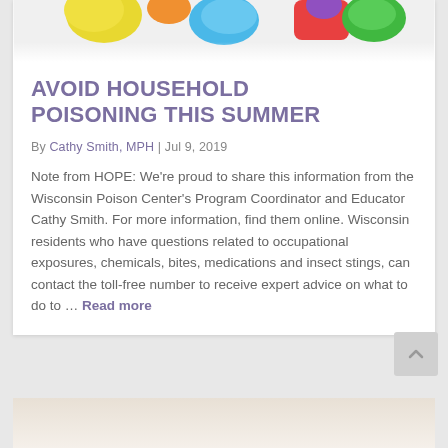[Figure (photo): Colorful cleaning supplies and household items photographed from above, partially cropped at top of card]
AVOID HOUSEHOLD POISONING THIS SUMMER
By Cathy Smith, MPH  |  Jul 9, 2019
Note from HOPE: We're proud to share this information from the Wisconsin Poison Center's Program Coordinator and Educator Cathy Smith. For more information, find them online. Wisconsin residents who have questions related to occupational exposures, chemicals, bites, medications and insect stings, can contact the toll-free number to receive expert advice on what to do to … Read more
[Figure (photo): White pillows or fabric, partially visible at bottom of page]